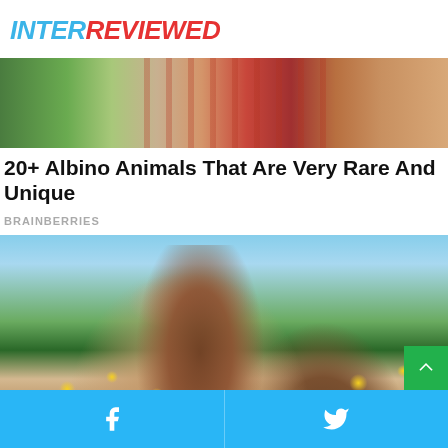INTERREVIEWED
[Figure (photo): Partial view of two people sitting in a grassy field, one wearing a red and white striped top]
20+ Albino Animals That Are Very Rare And Unique
BRAINBERRIES
[Figure (photo): A young woman with long brown hair hugging a man from behind, looking over his shoulder, with blurred yellow flowers and green hills in the background]
[Figure (other): Green scroll-to-top button with upward chevron arrow]
Facebook share button | Twitter share button